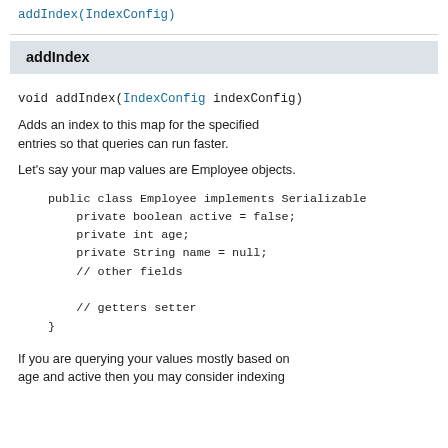addIndex(IndexConfig)
addIndex
void addIndex(IndexConfig indexConfig)
Adds an index to this map for the specified entries so that queries can run faster.
Let's say your map values are Employee objects.
public class Employee implements Serializable
    private boolean active = false;
    private int age;
    private String name = null;
    // other fields

    // getters setter
}
If you are querying your values mostly based on age and active then you may consider indexing